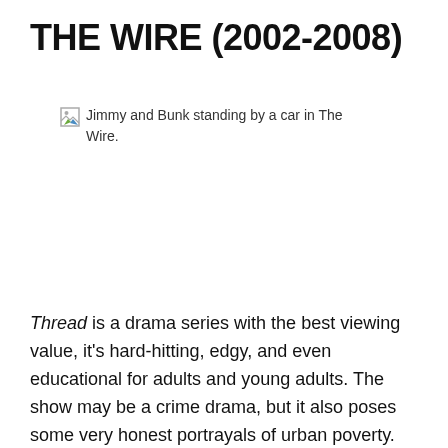THE WIRE (2002-2008)
[Figure (photo): Broken image placeholder with alt text: Jimmy and Bunk standing by a car in The Wire.]
Thread is a drama series with the best viewing value, it's hard-hitting, edgy, and even educational for adults and young adults. The show may be a crime drama, but it also poses some very honest portrayals of urban poverty. LookAnOwl was quick to champion pedagogical reasoning for Thread stating that they believe "Season 4 should be